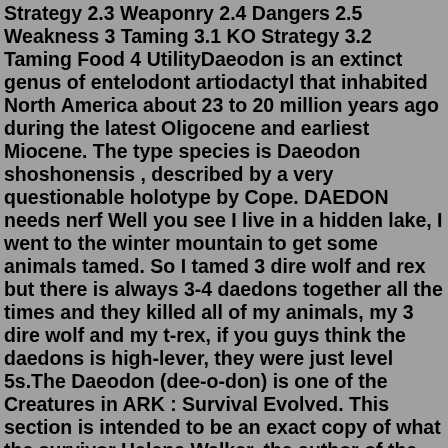Strategy 2.3 Weaponry 2.4 Dangers 2.5 Weakness 3 Taming 3.1 KO Strategy 3.2 Taming Food 4 UtilityDaeodon is an extinct genus of entelodont artiodactyl that inhabited North America about 23 to 20 million years ago during the latest Oligocene and earliest Miocene. The type species is Daeodon shoshonensis , described by a very questionable holotype by Cope. DAEDON needs nerf Well you see I live in a hidden lake, I went to the winter mountain to get some animals tamed. So I tamed 3 dire wolf and rex but there is always 3-4 daedons together all the times and they killed all of my animals, my 3 dire wolf and my t-rex, if you guys think the daedons is high-lever, they were just level 5s.The Daeodon (dee-o-don) is one of the Creatures in ARK : Survival Evolved. This section is intended to be an exact copy of what the survivor Helena Walker, the author of the dossiers, has written. There may be some discrepancies between this text and the in-game creature. The Pteranodon (tuh-RA-nuh-daan), also known as the Ptera or even just Pt, is one of the